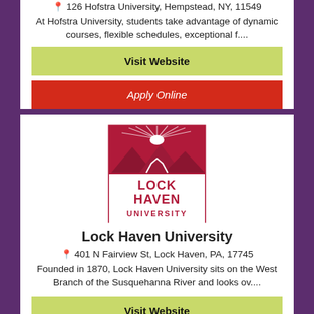📍 126 Hofstra University, Hempstead, NY, 11549
At Hofstra University, students take advantage of dynamic courses, flexible schedules, exceptional f....
Visit Website
Apply Online
[Figure (logo): Lock Haven University logo: crimson square border with mountain/sun graphic and text LOCK HAVEN UNIVERSITY in bold crimson letters]
Lock Haven University
📍 401 N Fairview St, Lock Haven, PA, 17745
Founded in 1870, Lock Haven University sits on the West Branch of the Susquehanna River and looks ov....
Visit Website